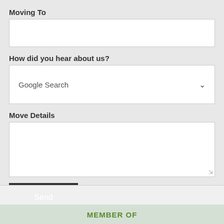Moving To
[Figure (screenshot): Empty text input field for 'Moving To']
How did you hear about us?
[Figure (screenshot): Dropdown select box showing 'Google Search' with a chevron arrow]
Move Details
[Figure (screenshot): Empty textarea for move details with resize handle]
[Figure (screenshot): Dark 'Send' button]
MEMBER OF